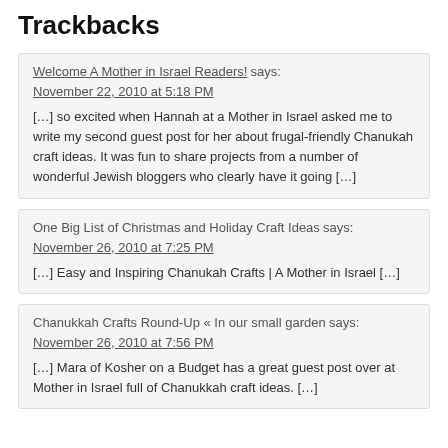Trackbacks
Welcome A Mother in Israel Readers! says:
November 22, 2010 at 5:18 PM
[…] so excited when Hannah at a Mother in Israel asked me to write my second guest post for her about frugal-friendly Chanukah craft ideas. It was fun to share projects from a number of wonderful Jewish bloggers who clearly have it going […]
One Big List of Christmas and Holiday Craft Ideas says:
November 26, 2010 at 7:25 PM
[…] Easy and Inspiring Chanukah Crafts | A Mother in Israel […]
Chanukkah Crafts Round-Up « In our small garden says:
November 26, 2010 at 7:56 PM
[…] Mara of Kosher on a Budget has a great guest post over at Mother in Israel full of Chanukkah craft ideas. […]